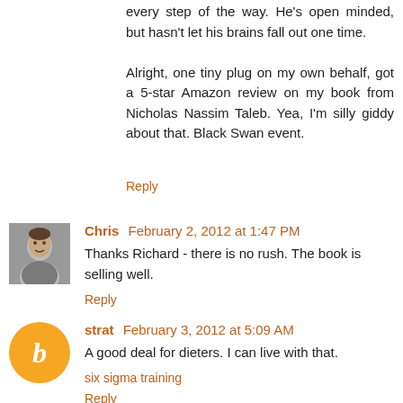every step of the way. He's open minded, but hasn't let his brains fall out one time.

Alright, one tiny plug on my own behalf, got a 5-star Amazon review on my book from Nicholas Nassim Taleb. Yea, I'm silly giddy about that. Black Swan event.
Reply
Chris  February 2, 2012 at 1:47 PM
Thanks Richard - there is no rush. The book is selling well.
Reply
strat  February 3, 2012 at 5:09 AM
A good deal for dieters. I can live with that.
six sigma training
Reply